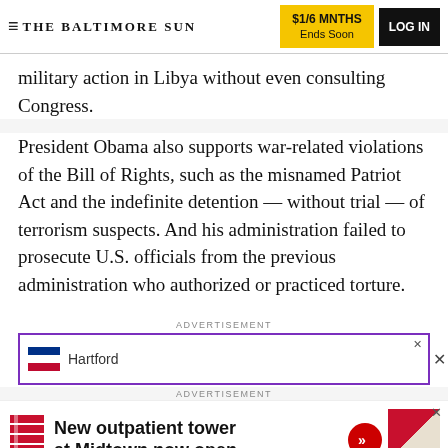THE BALTIMORE SUN | $1/6 MNTHS Ends Soon | LOG IN
military action in Libya without even consulting Congress.
President Obama also supports war-related violations of the Bill of Rights, such as the misnamed Patriot Act and the indefinite detention — without trial — of terrorism suspects. And his administration failed to prosecute U.S. officials from the previous administration who authorized or practiced torture.
ADVERTISEMENT
[Figure (other): Advertisement banner with purple border showing a flag icon and Hartford branding, with close button]
ADVERTISEMENT
[Figure (other): Advertisement for 'New outpatient tower at Midtown now open.' with logo, red arrow button, and image]